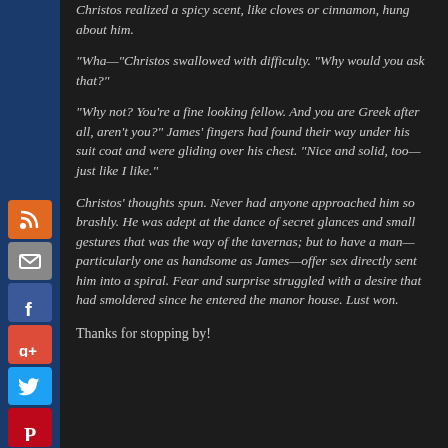Christos realized a spicy scent, like cloves or cinnamon, hung about him.
“Wha—”Christos swallowed with difficulty. “Why would you ask that?”
“Why not? You’re a fine looking fellow. And you are Greek after all, aren’t you?” James’ fingers had found their way under his suit coat and were gliding over his chest. “Nice and solid, too—just like I like.”
Christos’ thoughts spun. Never had anyone approached him so brashly. He was adept at the dance of secret glances and small gestures that was the way of the tavernas; but to have a man—particularly one as handsome as James—offer sex directly sent him into a spiral. Fear and surprise struggled with a desire that had smoldered since he entered the manor house. Lust won.
Thanks for stopping by!